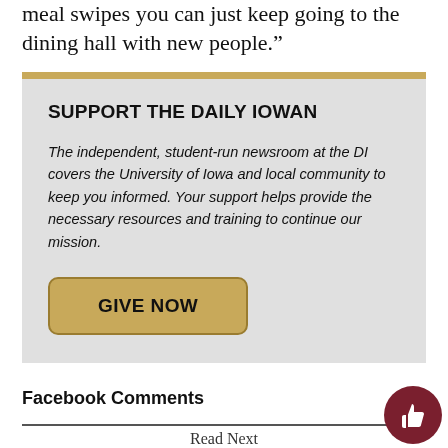meal swipes you can just keep going to the dining hall with new people.”
SUPPORT THE DAILY IOWAN
The independent, student-run newsroom at the DI covers the University of Iowa and local community to keep you informed. Your support helps provide the necessary resources and training to continue our mission.
GIVE NOW
Facebook Comments
Read Next